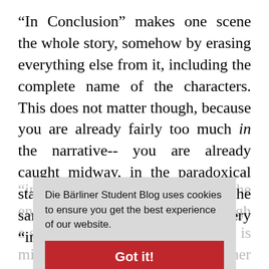“In Conclusion” makes one scene the whole story, somehow by erasing everything else from it, including the complete name of the characters. This does not matter though, because you are already fairly too much in the narrative-- you are already caught midway, in the paradoxical state of knowing enough and at the same time, never enough. Every “introduction” is “in conclusion,” “in a nutshell” is the entire plot of the movie, even though a substantial part of its elaboration is missing. Yet every other “introduction” also feels like a particular kind of development, like a piece of a puzzle that can both fit and not fit the entire picture while being perfectly capable of being the whole itself.
Die Bärliner Student Blog uses cookies to ensure you get the best experience of our website.
Got it!